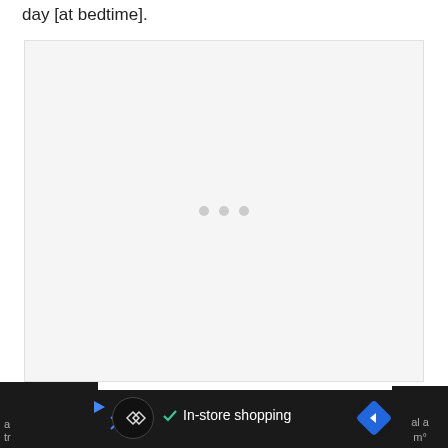day [at bedtime].
[Figure (other): Advertisement placeholder box with light gray background and three gray dots in the center indicating loading or ad content]
Now it’s your turn: If TNX-102 SL is
[Figure (other): Advertisement banner at bottom of page with dark background, circular logo, in-store shopping text with checkmark, navigation diamond icon, and close X button]